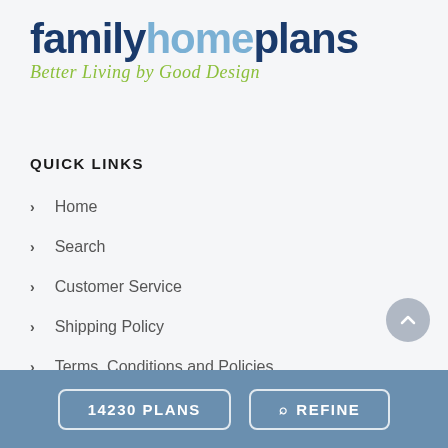[Figure (logo): Family Home Plans logo with tagline 'Better Living by Good Design']
QUICK LINKS
Home
Search
Customer Service
Shipping Policy
Terms, Conditions and Policies
14230 PLANS   REFINE